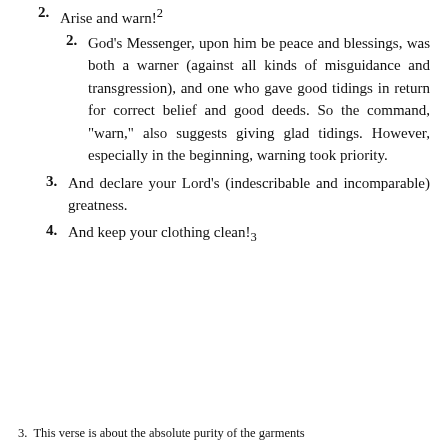2. Arise and warn!2
2. God’s Messenger, upon him be peace and blessings, was both a warner (against all kinds of misguidance and transgression), and one who gave good tidings in return for correct belief and good deeds. So the command, “warn,” also suggests giving glad tidings. However, especially in the beginning, warning took priority.
3. And declare your Lord’s (indescribable and incomparable) greatness.
4. And keep your clothing clean!₃
3. This verse is about the absolute purity of the garments